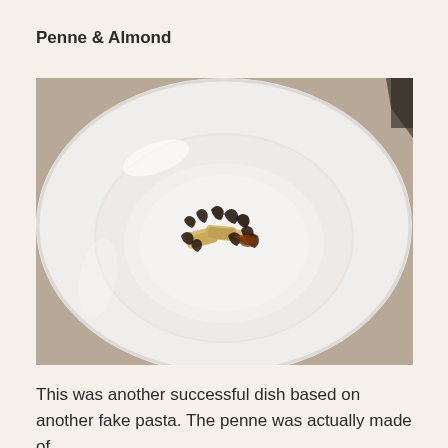Penne & Almond
[Figure (photo): A white fine-dining bowl with a small elegant serving of penne pasta topped with dark truffle shavings and a drizzle of brown sauce, centered in the bowl, shot from above on a warm beige background.]
This was another successful dish based on another fake pasta. The penne was actually made of...